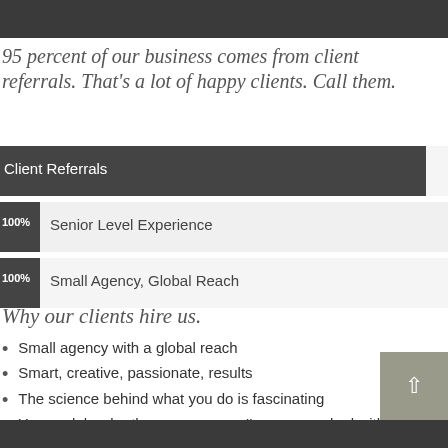[Figure (photo): Dark header image strip at the top of the page]
95 percent of our business comes from client referrals. That's a lot of happy clients. Call them.
[Figure (bar-chart): Agency Stats]
Why our clients hire us.
Small agency with a global reach
Smart, creative, passionate, results
The science behind what you do is fascinating
You work harder than any agency I've ever worked with ...and no b.s.!
You understand what's happening in the world and our i